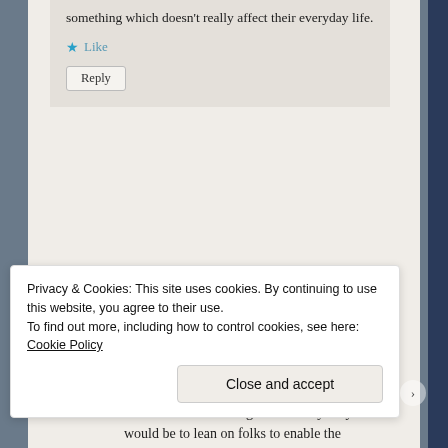something which doesn't really affect their everyday life.
Like  Reply
Foxfier says: August 5, 2018 at 2:17 pm
Heh, oddly enough, my immediate reaction to that is a mental catalog of how very easy it would be to lean on folks to enable the known,
Privacy & Cookies: This site uses cookies. By continuing to use this website, you agree to their use.
To find out more, including how to control cookies, see here: Cookie Policy
Close and accept